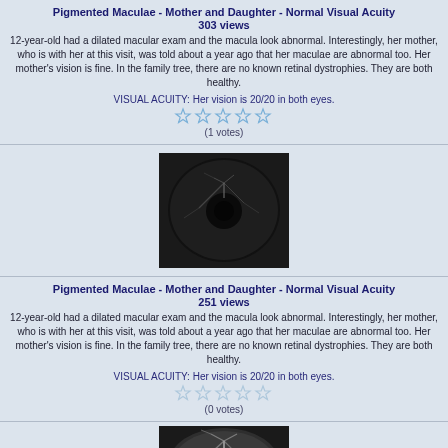Pigmented Maculae - Mother and Daughter - Normal Visual Acuity
303 views
12-year-old had a dilated macular exam and the macula look abnormal. Interestingly, her mother, who is with her at this visit, was told about a year ago that her maculae are abnormal too. Her mother's vision is fine. In the family tree, there are no known retinal dystrophies. They are both healthy.
VISUAL ACUITY: Her vision is 20/20 in both eyes.
(1 votes)
[Figure (photo): Retinal fundus photograph showing dark circular field with visible blood vessels and central dark macula area]
Pigmented Maculae - Mother and Daughter - Normal Visual Acuity
251 views
12-year-old had a dilated macular exam and the macula look abnormal. Interestingly, her mother, who is with her at this visit, was told about a year ago that her maculae are abnormal too. Her mother's vision is fine. In the family tree, there are no known retinal dystrophies. They are both healthy.
VISUAL ACUITY: Her vision is 20/20 in both eyes.
(0 votes)
[Figure (photo): Retinal fundus photograph (partial), lighter image with visible vessel branching pattern]